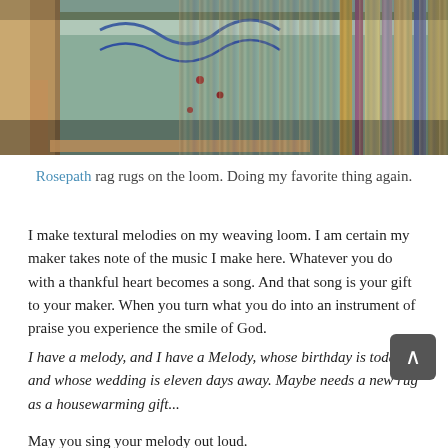[Figure (photo): A weaving loom with colorful rag rugs in progress, showing wooden frame and textile with blue, green, purple and earth-tone strips]
Rosepath rag rugs on the loom. Doing my favorite thing again.
I make textural melodies on my weaving loom. I am certain my maker takes note of the music I make here. Whatever you do with a thankful heart becomes a song. And that song is your gift to your maker. When you turn what you do into an instrument of praise you experience the smile of God.
I have a melody, and I have a Melody, whose birthday is today, and whose wedding is eleven days away. Maybe needs a new rug as a housewarming gift...
May you sing your melody out loud.